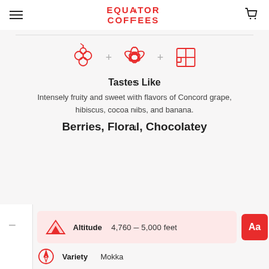EQUATOR COFFEES
[Figure (infographic): Three red icons: a berry cluster, a lotus/floral shape, and a 4-square grid (chocolatey/cocoa), separated by plus signs]
Tastes Like
Intensely fruity and sweet with flavors of Concord grape, hibiscus, cocoa nibs, and banana.
Berries, Floral, Chocolatey
Altitude  4,760 – 5,000 feet
Variety  Mokka